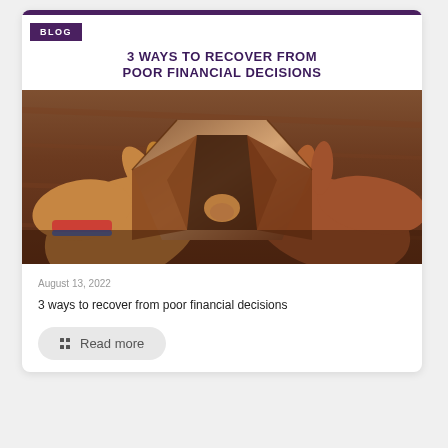BLOG
3 WAYS TO RECOVER FROM POOR FINANCIAL DECISIONS
[Figure (photo): Hands holding open an empty brown leather wallet against a wooden background]
August 13, 2022
3 ways to recover from poor financial decisions
Read more